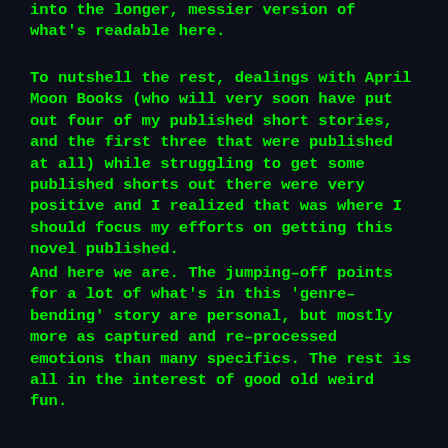into the longer, messier version of what’s readable here.
To nutshell the rest, dealings with April Moon Books (who will very soon have put out four of my published short stories, and the first three that were published at all) while struggling to get some published shorts out there were very positive and I realized that was where I should focus my efforts on getting this novel published.
And here we are. The jumping–off points for a lot of what’s in this ‘genre–bending’ story are personal, but mostly more as captured and re–processed emotions than many specifics. The rest is all in the interest of good old weird fun.